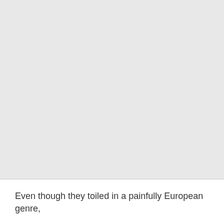[Figure (photo): Large grey/light image area taking up the top portion of the page]
Even though they toiled in a painfully European genre,